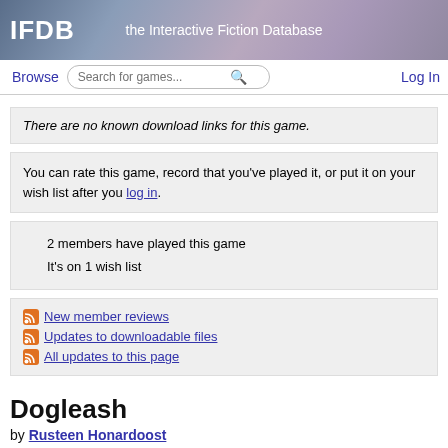IFDB — the Interactive Fiction Database
There are no known download links for this game.
You can rate this game, record that you've played it, or put it on your wish list after you log in.
2 members have played this game
It's on 1 wish list
New member reviews
Updates to downloadable files
All updates to this page
Dogleash
by Rusteen Honardoost